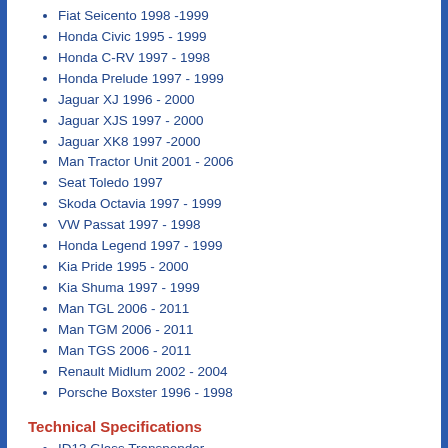Fiat Seicento 1998 -1999
Honda Civic 1995 - 1999
Honda C-RV 1997 - 1998
Honda Prelude 1997 - 1999
Jaguar XJ 1996 - 2000
Jaguar XJS 1997 - 2000
Jaguar XK8 1997 -2000
Man Tractor Unit 2001 - 2006
Seat Toledo 1997
Skoda Octavia 1997 - 1999
VW Passat 1997 - 1998
Honda Legend 1997 - 1999
Kia Pride 1995 - 2000
Kia Shuma 1997 - 1999
Man TGL 2006 - 2011
Man TGM 2006 - 2011
Man TGS 2006 - 2011
Renault Midlum 2002 - 2004
Porsche Boxster 1996 - 1998
Technical Specifications
ID13 Glass Transponder
SmartPro/AD100Pro/MVPPro Programmable Zedfull Programable
Can be Cloned onto T5 AKTP14 using Zedfull
RW4 Clonable onto T5 AKTP14
This product is compatible with the